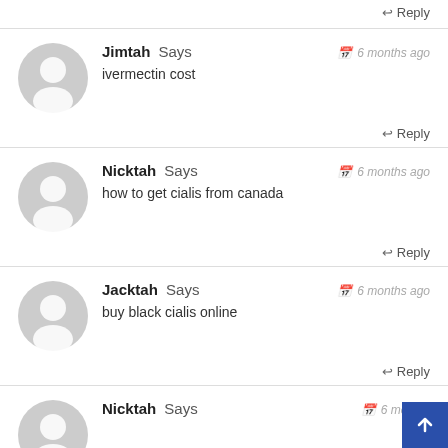Reply (top)
Jimtah Says — 6 months ago
ivermectin cost
Reply
Nicktah Says — 6 months ago
how to get cialis from canada
Reply
Jacktah Says — 6 months ago
buy black cialis online
Reply
Nicktah Says — 6 months ago (partial)